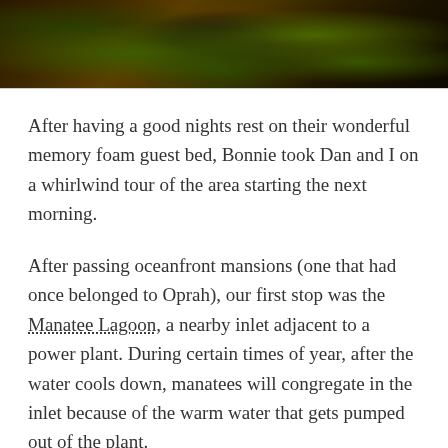[Figure (photo): A dark outdoor photo showing a dark animal or figure resting on green grass, taken at low light with warm tones. Appears to be a dog or similar animal lying on grass.]
After having a good nights rest on their wonderful memory foam guest bed, Bonnie took Dan and I on a whirlwind tour of the area starting the next morning.
After passing oceanfront mansions (one that had once belonged to Oprah), our first stop was the Manatee Lagoon, a nearby inlet adjacent to a power plant. During certain times of year, after the water cools down, manatees will congregate in the inlet because of the warm water that gets pumped out of the plant.